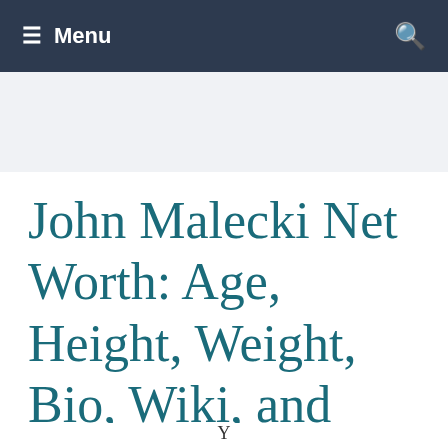≡ Menu
John Malecki Net Worth: Age, Height, Weight, Bio, Wiki, and Career